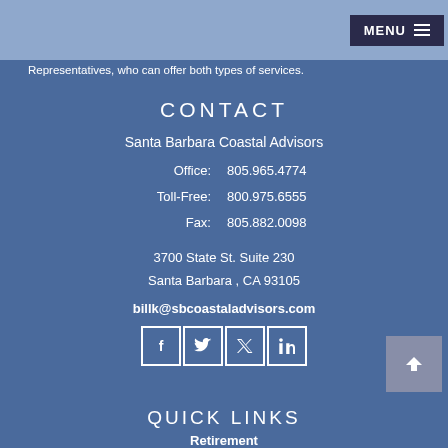Representatives, who can offer both types of services.
CONTACT
Santa Barbara Coastal Advisors
Office: 805.965.4774
Toll-Free: 800.975.6555
Fax: 805.882.0098
3700 State St. Suite 230
Santa Barbara , CA 93105
billk@sbcoastaladvisors.com
[Figure (infographic): Social media icons: Facebook, Twitter, LinkedIn]
QUICK LINKS
Retirement